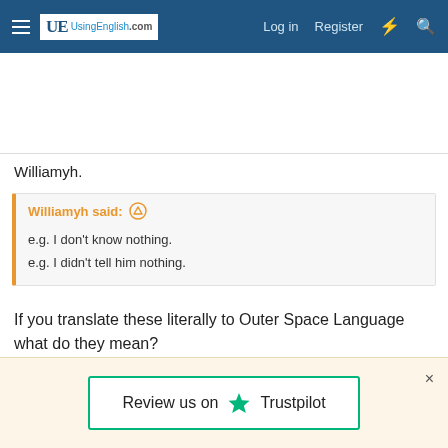UsingEnglish.com — Log in  Register
Williamyh.
Williamyh said: ↑
e.g. I don't know nothing.
e.g. I didn't tell him nothing.
If you translate these literally to Outer Space Language what do they mean?
[Figure (screenshot): Review us on Trustpilot banner with green star and border]